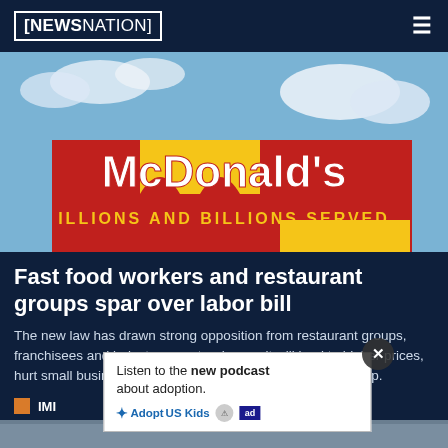NEWSNATION
[Figure (photo): Close-up of a McDonald's sign showing the golden arches logo and the text 'McDonald's' and 'ILLIONS AND BILLIONS SERVED' on red background against a blue sky with clouds]
Fast food workers and restaurant groups spar over labor bill
The new law has drawn strong opposition from restaurant groups, franchisees and industry experts who say it will lead to higher prices, hurt small business owners and discourage entrepreneurship.
Listen to the new podcast about adoption.
IMI
[Figure (photo): Partially visible bottom image strip]